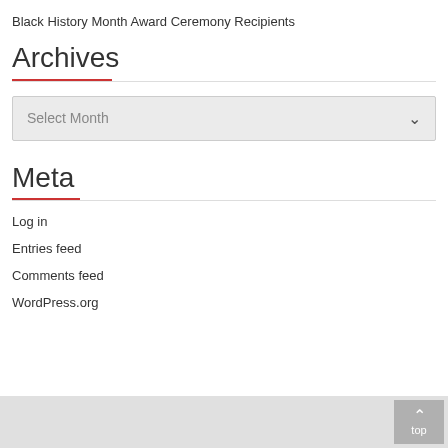Black History Month Award Ceremony Recipients
Archives
Select Month
Meta
Log in
Entries feed
Comments feed
WordPress.org
top